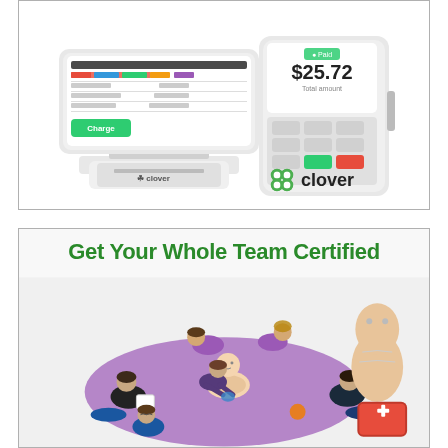[Figure (photo): Advertisement showing Clover point-of-sale payment devices (tablet and handheld terminal) with the Clover logo (green four-leaf clover icon and 'clover' text) in the bottom right corner. White background with light border.]
[Figure (photo): Advertisement showing a group of people learning CPR certification around a training mannequin on a purple mat, with a CPR dummy torso on the right. Green bold headline reads 'Get Your Whole Team Certified'.]